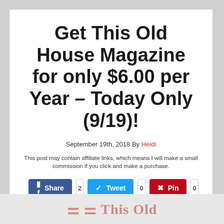Get This Old House Magazine for only $6.00 per Year – Today Only (9/19)!
September 19th, 2018 By Heidi
This post may contain affiliate links, which means I will make a small commission if you click and make a purchase.
[Figure (infographic): Social share buttons: Facebook Share (2), Twitter Tweet (0), Pinterest Pin (0), Email (0)]
[Figure (logo): This Old House magazine logo (partial, bottom of page)]